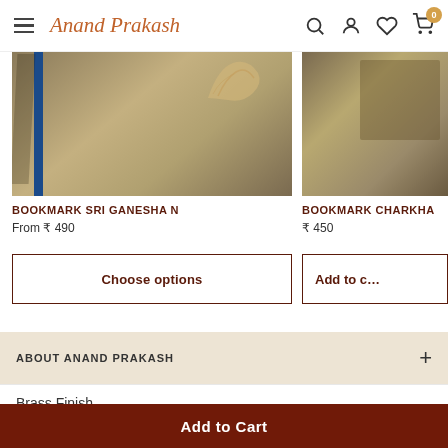Anand Prakash — navigation header with hamburger menu, logo, search, account, wishlist, cart (0)
[Figure (photo): Close-up photo of a decorative bookmark with blue edge and gold ornament on brown/tan background — BOOKMARK SRI GANESHA N]
BOOKMARK SRI GANESHA N
From ₹ 490
Choose options
[Figure (photo): Close-up photo of a decorative bookmark on brown background — BOOKMARK CHARKHA]
BOOKMARK CHARKHA
₹ 450
Add to cart
ABOUT ANAND PRAKASH +
Brass Finish
Add to Cart